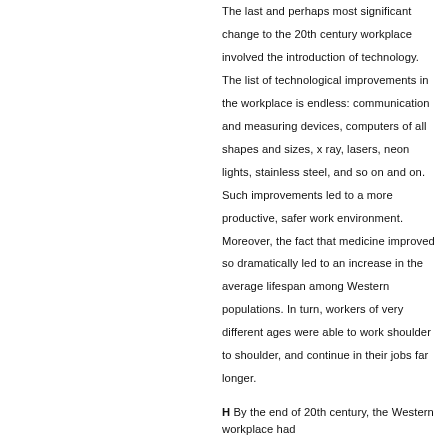The last and perhaps most significant change to the 20th century workplace involved the introduction of technology. The list of technological improvements in the workplace is endless: communication and measuring devices, computers of all shapes and sizes, x ray, lasers, neon lights, stainless steel, and so on and on. Such improvements led to a more productive, safer work environment. Moreover, the fact that medicine improved so dramatically led to an increase in the average lifespan among Western populations. In turn, workers of very different ages were able to work shoulder to shoulder, and continue in their jobs far longer.
H By the end of 20th century, the Western workplace had